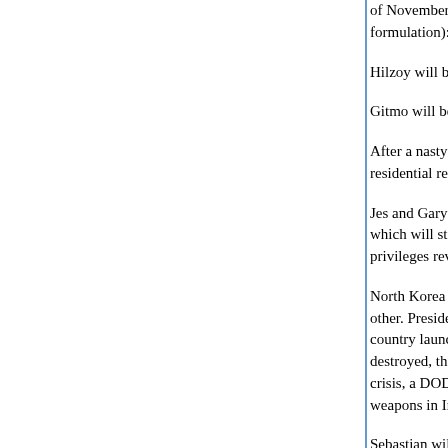of November, 2012 (see the US Constitution for a formulation):
Hilzoy will be married and expecting.
Gitmo will be closed.
After a nasty recession which started in 2007 led residential real estate market, the economy will be
Jes and Gary Farber will make up after the longest which will still be going. (I will still be commenting privileges revoked after that nasty affair in '10.)
North Korea and Iran will have tested nuclear wea other. President ________ will have gone on the a country launches a first nuclear strike will be utter destroyed, then every major religious center in Isl crisis, a DOD leak will reveal that President Bush weapons in Iran in 2007, but the military refused t
Sebastian will be happily joined. The term "joining sweep the coasts but not find a foothold in the So
After tremendous pressure from Turkey and Iran, an independent state. Iraq will be staggering on, I
Russia and China will be rapidly rising economic